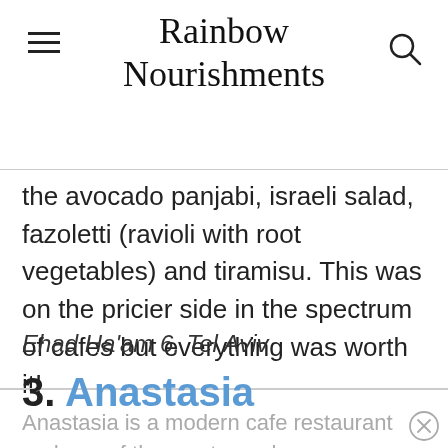Rainbow Nourishments
the avocado panjabi, israeli salad, fazoletti (ravioli with root vegetables) and tiramisu. This was on the pricier side in the spectrum of cafes but everything was worth it!
Ehad Ha'am 6, Tel Aviv
3.  Anastasia
Anastasia is a modern cafe restaurant and one of the most popular vegan